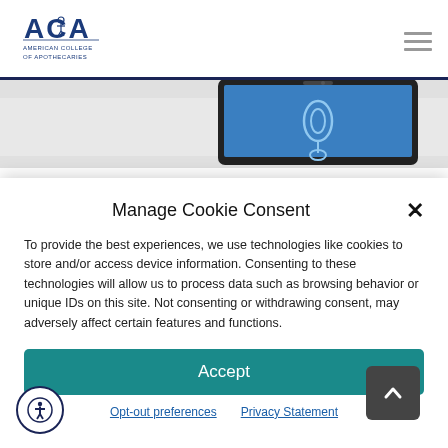[Figure (logo): American College of Apothecaries (ACA) logo with stylized text and icon]
[Figure (screenshot): Partial view of a tablet device with blue screen, set against a light gray background]
Manage Cookie Consent
To provide the best experiences, we use technologies like cookies to store and/or access device information. Consenting to these technologies will allow us to process data such as browsing behavior or unique IDs on this site. Not consenting or withdrawing consent, may adversely affect certain features and functions.
Accept
Opt-out preferences   Privacy Statement